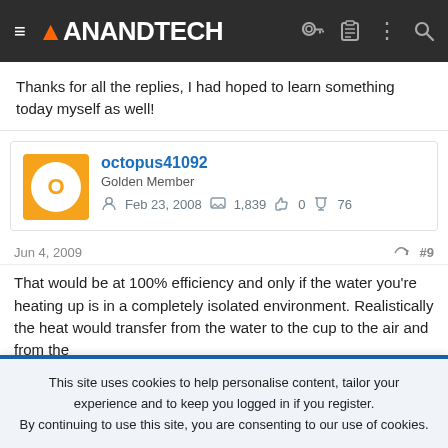AnandTech
Thanks for all the replies, I had hoped to learn something today myself as well!
octopus41092
Golden Member
Feb 23, 2008  1,839  0  76
Jun 4, 2009  #9
That would be at 100% efficiency and only if the water you're heating up is in a completely isolated environment. Realistically the heat would transfer from the water to the cup to the air and from the water to the air. So, I don't think it would actually be possible on it
This site uses cookies to help personalise content, tailor your experience and to keep you logged in if you register.
By continuing to use this site, you are consenting to our use of cookies.